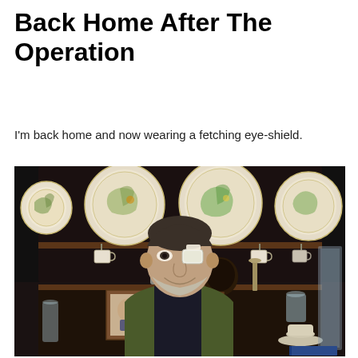Back Home After The Operation
I'm back home and now wearing a fetching eye-shield.
[Figure (photo): An elderly man with a white eye shield/patch on his right eye, smiling, wearing a dark shirt and olive/green blazer, seated in front of a wooden dresser displaying decorative botanical plates and mugs hanging from hooks, along with various objects on lower shelves.]